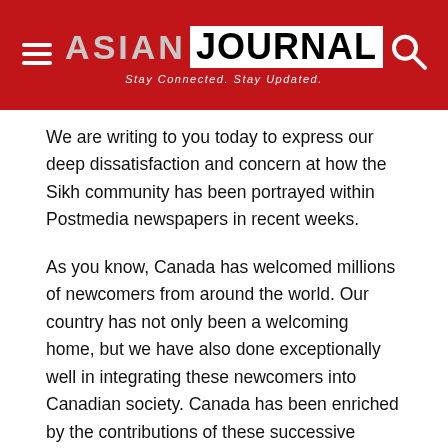ASIAN JOURNAL — Stay Connected. Stay Updated.
We are writing to you today to express our deep dissatisfaction and concern at how the Sikh community has been portrayed within Postmedia newspapers in recent weeks.
As you know, Canada has welcomed millions of newcomers from around the world. Our country has not only been a welcoming home, but we have also done exceptionally well in integrating these newcomers into Canadian society. Canada has been enriched by the contributions of these successive waves of newcomers, but we cannot take our success up to this point for granted.
As a major actor in the Canadian media landscape, we feel that it is your responsibility to ensure that your publications